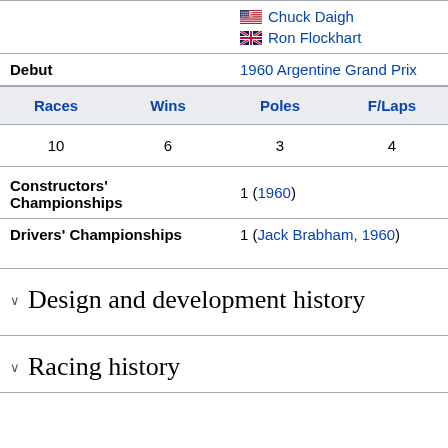| Chuck Daigh | Ron Flockhart |
| Debut | 1960 Argentine Grand Prix |
| Races | Wins | Poles | F/Laps |
| 10 | 6 | 3 | 4 |
| Constructors' Championships | 1 (1960) |
| Drivers' Championships | 1 (Jack Brabham, 1960) |
Design and development history
Racing history